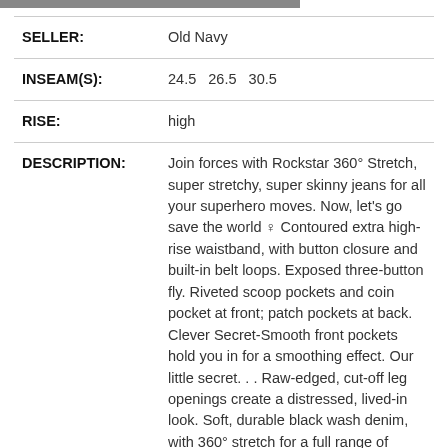| Field | Value |
| --- | --- |
| SELLER: | Old Navy |
| INSEAM(S): | 24.5   26.5   30.5 |
| RISE: | high |
| DESCRIPTION: | Join forces with Rockstar 360° Stretch, super stretchy, super skinny jeans for all your superhero moves. Now, let's go save the world ✿ Contoured extra high-rise waistband, with button closure and built-in belt loops. Exposed three-button fly. Riveted scoop pockets and coin pocket at front; patch pockets at back. Clever Secret-Smooth front pockets hold you in for a smoothing effect. Our little secret. . . Raw-edged, cut-off leg openings create a distressed, lived-in look. Soft, durable black wash denim, with 360° stretch for a full range of comfort, movement and performance. Never-Quit Shape Retention holds its shape and hugs in all the right places, wear after |